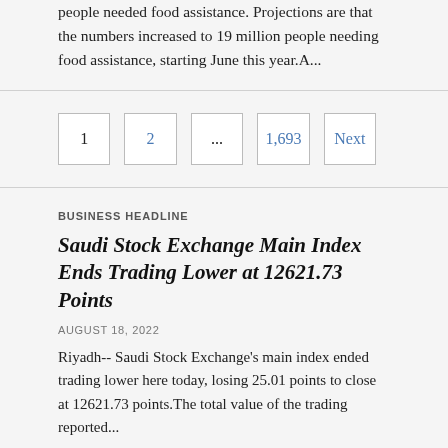people needed food assistance. Projections are that the numbers increased to 19 million people needing food assistance, starting June this year.A...
1
2
...
1,693
Next
BUSINESS HEADLINE
Saudi Stock Exchange Main Index Ends Trading Lower at 12621.73 Points
AUGUST 18, 2022
Riyadh-- Saudi Stock Exchange's main index ended trading lower here today, losing 25.01 points to close at 12621.73 points.The total value of the trading reported...